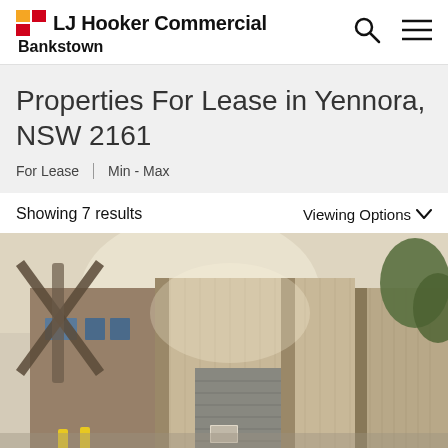LJ Hooker Commercial Bankstown
Properties For Lease in Yennora, NSW 2161
For Lease  |  Min - Max
Showing 7 results
Viewing Options
[Figure (photo): Exterior photograph of an industrial warehouse/commercial building in Yennora NSW, showing corrugated metal and brick facade with roller door, trees visible on left and right sides]